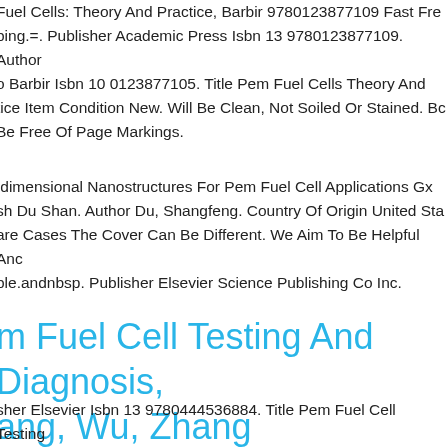Fuel Cells: Theory And Practice, Barbir 9780123877109 Fast Free bing.=. Publisher Academic Press Isbn 13 9780123877109. Author o Barbir Isbn 10 0123877105. Title Pem Fuel Cells Theory And tice Item Condition New. Will Be Clean, Not Soiled Or Stained. Bc Be Free Of Page Markings.
dimensional Nanostructures For Pem Fuel Cell Applications Gx sh Du Shan. Author Du, Shangfeng. Country Of Origin United Sta are Cases The Cover Can Be Different. We Aim To Be Helpful Anc ble.andnbsp. Publisher Elsevier Science Publishing Co Inc.
m Fuel Cell Testing And Diagnosis, ang, Wu, Zhang 9780444536884 ew.=
sher Elsevier Isbn 13 9780444536884. Title Pem Fuel Cell Testing Diagnosis Item Condition New. Author Jiujun Zhang, Jifeng Wu,